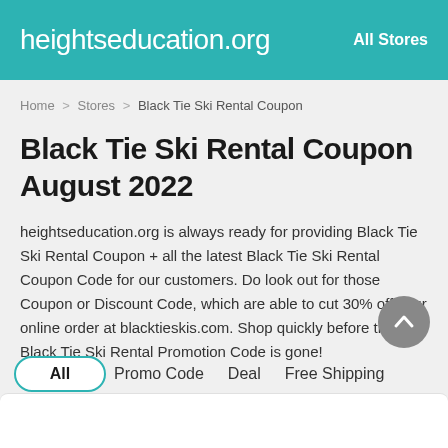heightseducation.org   All Stores
Home > Stores > Black Tie Ski Rental Coupon
Black Tie Ski Rental Coupon August 2022
heightseducation.org is always ready for providing Black Tie Ski Rental Coupon + all the latest Black Tie Ski Rental Coupon Code for our customers. Do look out for those Coupon or Discount Code, which are able to cut 30% off your online order at blacktieskis.com. Shop quickly before the Black Tie Ski Rental Promotion Code is gone!
All   Promo Code   Deal   Free Shipping